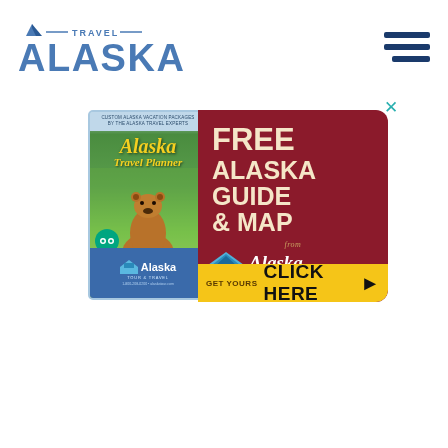[Figure (logo): Travel Alaska logo with mountain icon and blue text]
[Figure (illustration): Hamburger menu icon with three horizontal blue lines]
[Figure (infographic): Advertisement popup showing Alaska Travel Planner brochure on the left with a bear image, and a dark red panel on the right reading FREE ALASKA GUIDE & MAP from Alaska Tour & Travel, with a yellow CLICK HERE bar at the bottom and a teal X close button]